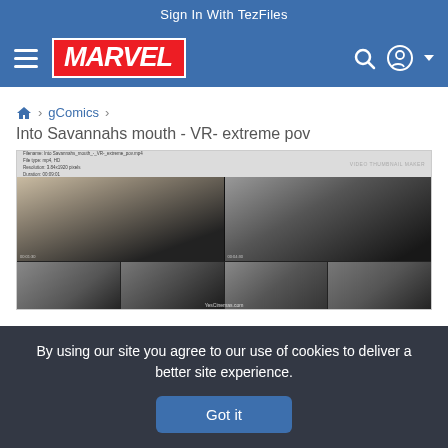Sign In With TezFiles
[Figure (logo): Marvel logo in red and white italic bold text on red background, in the blue navigation bar with hamburger menu, search icon, and user icon]
🏠 > gComics >
Into Savannahs mouth - VR- extreme pov
[Figure (screenshot): Video thumbnail maker screenshot showing a grid of video thumbnails with a header info row at the top and four thumbnail images in two rows]
By using our site you agree to our use of cookies to deliver a better site experience.
Got it